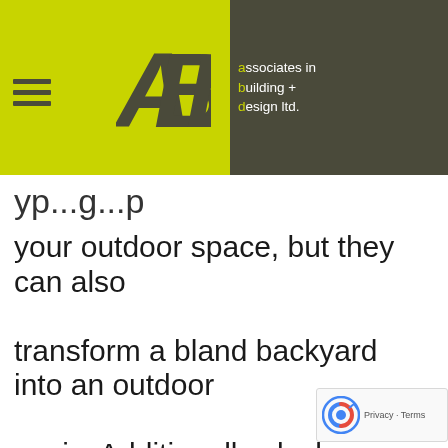[Figure (logo): ABD Associates in Building + Design Ltd. logo with yellow-green left panel containing hamburger menu icon and ABD lettering, and dark gray right panel with company name text]
your outdoor space, but they can also transform a bland backyard into an outdoor oasis. Additionally, decks are a sought-after addition for potential homebuyers and a large reason why many homeowners a
[Figure (other): reCAPTCHA badge with Privacy - Terms text]